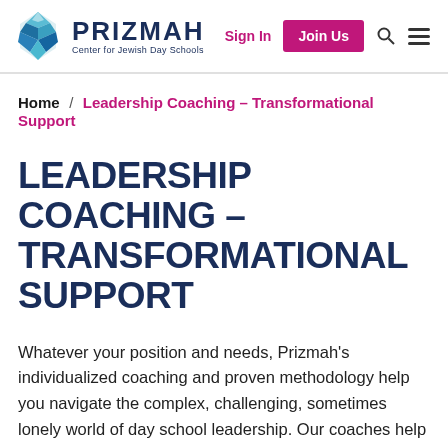PRIZMAH Center for Jewish Day Schools — Sign In | Join Us
Home / Leadership Coaching – Transformational Support
LEADERSHIP COACHING – TRANSFORMATIONAL SUPPORT
Whatever your position and needs, Prizmah's individualized coaching and proven methodology help you navigate the complex, challenging, sometimes lonely world of day school leadership. Our coaches help